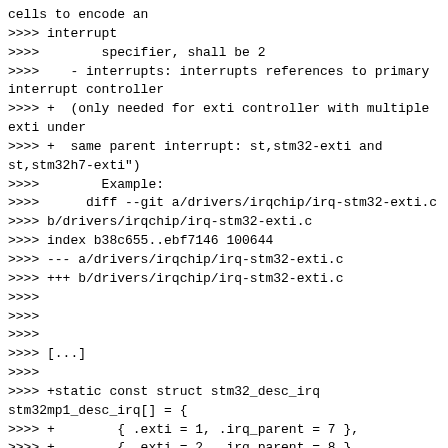cells to encode an
>>>> interrupt
>>>>        specifier, shall be 2
>>>>    - interrupts: interrupts references to primary interrupt controller
>>>> +  (only needed for exti controller with multiple exti under
>>>> +  same parent interrupt: st,stm32-exti and st,stm32h7-exti")
>>>>        Example:
>>>>      diff --git a/drivers/irqchip/irq-stm32-exti.c
>>>> b/drivers/irqchip/irq-stm32-exti.c
>>>> index b38c655..ebf7146 100644
>>>> --- a/drivers/irqchip/irq-stm32-exti.c
>>>> +++ b/drivers/irqchip/irq-stm32-exti.c
>>>>
>>>>
>>>>
>>>> [...]
>>>>
>>>> +static const struct stm32_desc_irq stm32mp1_desc_irq[] = {
>>>>  +        { .exti = 1, .irq_parent = 7 },
>>>>  +        { .exti = 2, .irq_parent = 8 },
>>>>  +        { .exti = 3, .irq_parent = 9 },
>>>>  +        { .exti = 4, .irq_parent = 10 },
>>>>  +        { .exti = 5, .irq_parent = 23 },
>>>>  +        { .exti = 6, .irq_parent = 64 },
>>>>  +        { .exti = 7, .irq_parent = 65 },
>>>>  +        { .exti = 8, .irq_parent = 66 },